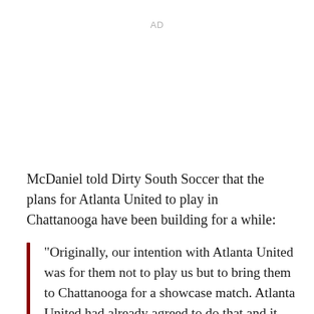AD
McDaniel told Dirty South Soccer that the plans for Atlanta United to play in Chattanooga have been building for a while:
"Originally, our intention with Atlanta United was for them not to play us but to bring them to Chattanooga for a showcase match. Atlanta United had already agreed to do that and it just became a matter of finding appropriate competition. As we started making calls, we both realized that it's really